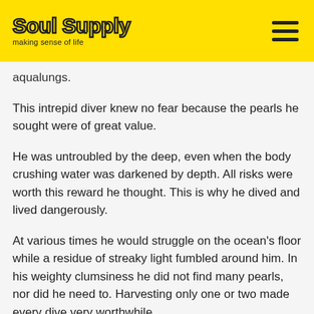Soul Supply – making sense of life
aqualungs.
This intrepid diver knew no fear because the pearls he sought were of great value.
He was untroubled by the deep, even when the body crushing water was darkened by depth. All risks were worth this reward he thought. This is why he dived and lived dangerously.
At various times he would struggle on the ocean's floor while a residue of streaky light fumbled around him. In his weighty clumsiness he did not find many pearls, nor did he need to. Harvesting only one or two made every dive very worthwhile.
Mankind continues this risky practice to this day. He…